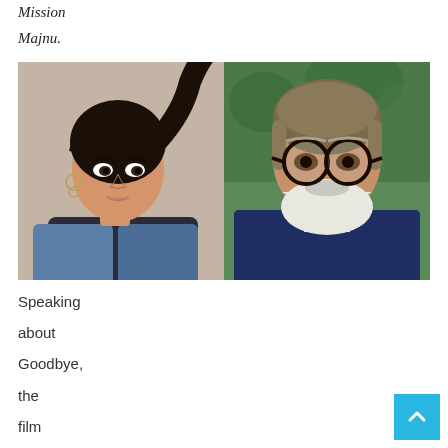Mission
Majnu.
[Figure (photo): Side-by-side photos: left shows a young woman with dark hair in a ponytail, hoop earrings, looking over her shoulder; right shows an older man with white beard and glasses wearing a dark blue patterned shirt, standing in front of greenery.]
Speaking about Goodbye, the film has